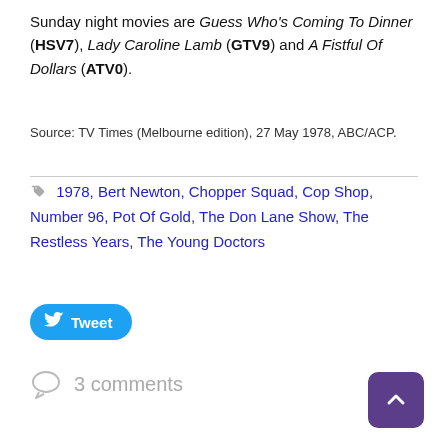Sunday night movies are Guess Who's Coming To Dinner (HSV7), Lady Caroline Lamb (GTV9) and A Fistful Of Dollars (ATV0).
Source: TV Times (Melbourne edition), 27 May 1978, ABC/ACP.
1978, Bert Newton, Chopper Squad, Cop Shop, Number 96, Pot Of Gold, The Don Lane Show, The Restless Years, The Young Doctors
Tweet
3 comments